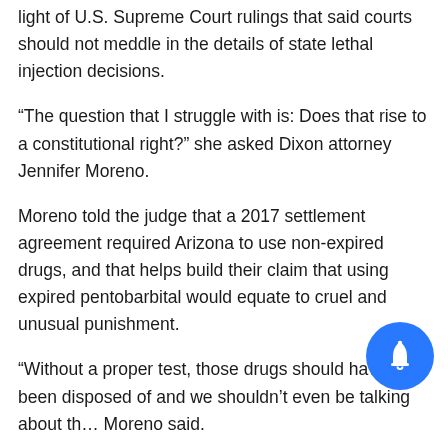light of U.S. Supreme Court rulings that said courts should not meddle in the details of state lethal injection decisions.
“The question that I struggle with is: Does that rise to a constitutional right?” she asked Dixon attorney Jennifer Moreno.
Moreno told the judge that a 2017 settlement agreement required Arizona to use non-expired drugs, and that helps build their claim that using expired pentobarbital would equate to cruel and unusual punishment.
“Without a proper test, those drugs should have been disposed of and we shouldn’t even be talking about th… Moreno said.
But she acknowledged that if the state is able to mix the new